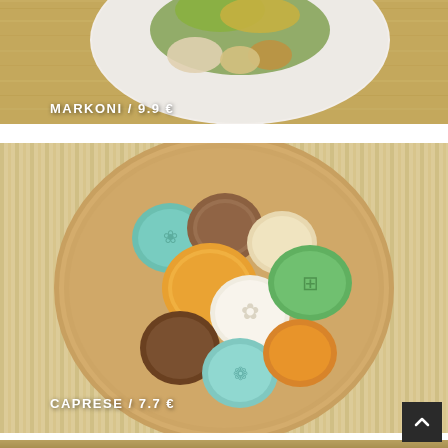[Figure (photo): Top portion of a food photo showing a dish on a white plate on a wooden surface, with the label 'MARKONI / 9.9 €' overlaid in white bold text]
[Figure (photo): Photo of colorful decorative mooncakes/cookies arranged on a round wooden plate on a striped bamboo surface, with the label 'CAPRESE / 7.7 €' overlaid in white bold text]
[Figure (photo): Partial view of another food photo at the bottom of the page]